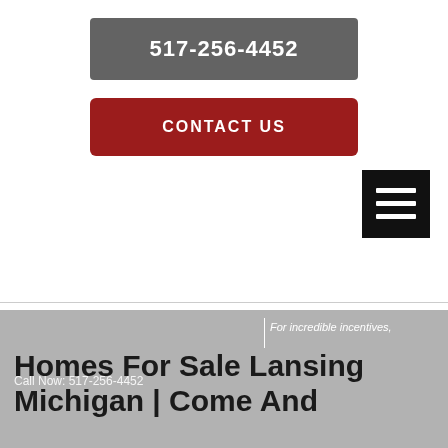517-256-4452
CONTACT US
[Figure (other): Hamburger menu icon — three white horizontal bars on black background]
Homes For Sale Lansing Michigan | Come And
For incredible incentives,
Call Now: 517-256-4452